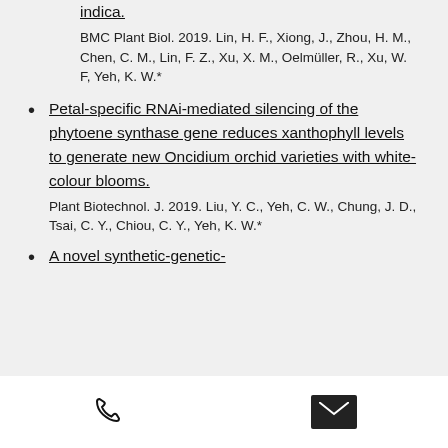indica.
BMC Plant Biol. 2019. Lin, H. F., Xiong, J., Zhou, H. M., Chen, C. M., Lin, F. Z., Xu, X. M., Oelmüller, R., Xu, W. F, Yeh, K. W.*
Petal-specific RNAi-mediated silencing of the phytoene synthase gene reduces xanthophyll levels to generate new Oncidium orchid varieties with white-colour blooms.
Plant Biotechnol. J. 2019. Liu, Y. C., Yeh, C. W., Chung, J. D., Tsai, C. Y., Chiou, C. Y., Yeh, K. W.*
A novel synthetic-genetic-
phone | email